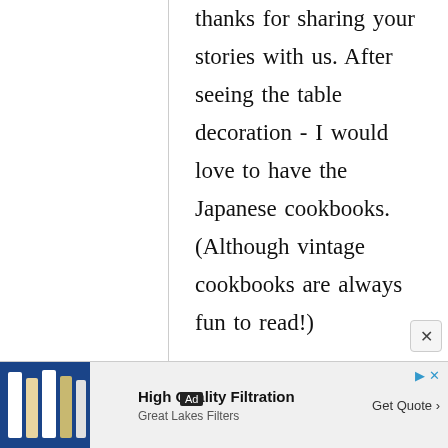thanks for sharing your stories with us. After seeing the table decoration - I would love to have the Japanese cookbooks. (Although vintage cookbooks are always fun to read!) Thanks! Sara, United States
[Figure (other): Advertisement banner at bottom of page: Ad badge, image of books, 'High Quality Filtration' from 'Great Lakes Filters', 'Get Quote' CTA button with arrow, close icons.]